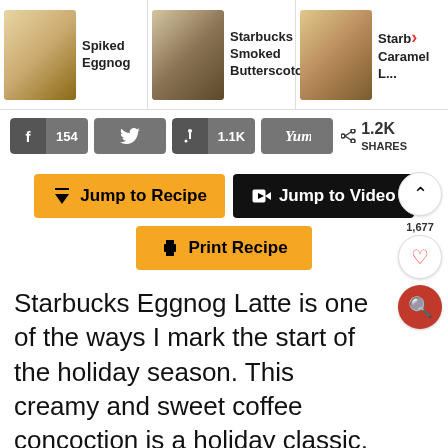[Figure (screenshot): Carousel of recipe cards: Spiked Eggnog, Starbucks Smoked Butterscotch..., Starbucks Caramel L...]
[Figure (screenshot): Social share bar with Facebook 154, Twitter, Pinterest 1.1K, Yum buttons, and 1.2K SHARES]
[Figure (screenshot): Action buttons: Jump to Recipe (gold), Jump to Video (black), Print Recipe (gold)]
Starbucks Eggnog Latte is one of the ways I mark the start of the holiday season. This creamy and sweet coffee concoction is a holiday classic, the eggnog gives this latte nostalgic holiday flavor, and you get to make this at home
[Figure (screenshot): Advertisement banner for BitLife - Life Simulator with Install button]